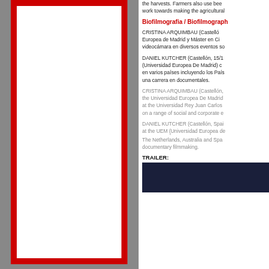the harvests. Farmers also use bee... work towards making the agricultural...
Biofilmografia / Biofilmography
CRISTINA ARQUIMBAU (Castellón... Europea de Madrid y Máster en Ci... videocámara en diversos eventos so...
DANIEL KUTCHER (Castellón, 15/1... (Universidad Europea De Madrid) c... en varios países incluyendo los País... una carrera en documentales.
CRISTINA ARQUIMBAU (Castellón,... the Universidad Europea De Madrid... at the Universidad Rey Juan Carlos... on a range of social and corporate e...
DANIEL KUTCHER (Castellón, Spa... at the UEM (Universidad Europea de... The Netherlands, Australia and Spa... documentary filmmaking.
TRAILER:
[Figure (screenshot): Dark navy/blue video trailer thumbnail]